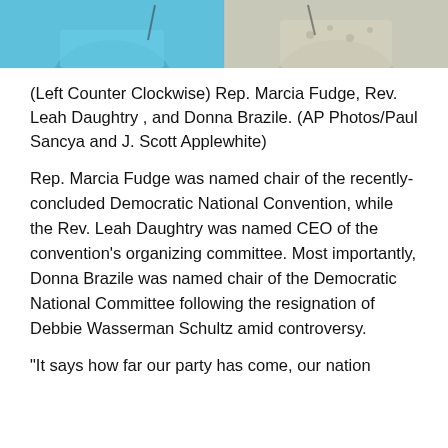[Figure (photo): Top portion of a photograph showing two people: one on the left wearing a light blue outfit, one on the right wearing a white patterned outfit, both appearing to speak or gesture.]
(Left Counter Clockwise) Rep. Marcia Fudge, Rev. Leah Daughtry , and Donna Brazile. (AP Photos/Paul Sancya and J. Scott Applewhite)
Rep. Marcia Fudge was named chair of the recently-concluded Democratic National Convention, while the Rev. Leah Daughtry was named CEO of the convention’s organizing committee. Most importantly, Donna Brazile was named chair of the Democratic National Committee following the resignation of Debbie Wasserman Schultz amid controversy.
“It says how far our party has come, our nation